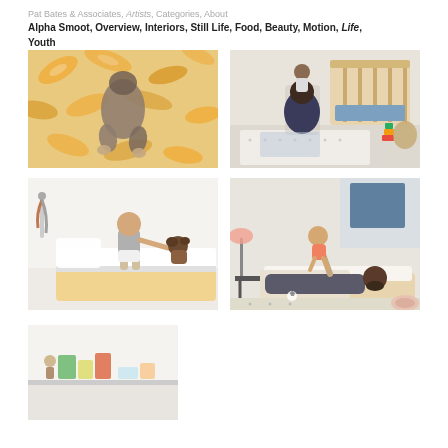Pat Bates & Associates, Artists, Categories, About
Alpha Smoot, Overview, Interiors, Still Life, Food, Beauty, Motion, Life, Youth
[Figure (photo): Overhead view of baby lying on orange tropical floral patterned blanket/rug]
[Figure (photo): Father sitting on floor in nursery holding up baby near wooden crib]
[Figure (photo): Toddler sitting on bed playing with stuffed animal toy]
[Figure (photo): Father lying on daybed lifting toddler in the air in a child's room]
[Figure (photo): Partial view of a room scene with books and objects on a surface]